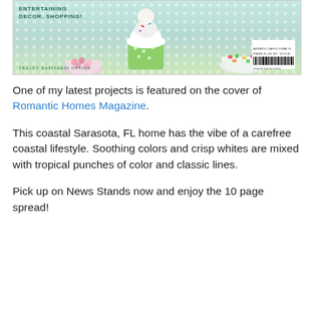[Figure (photo): Magazine cover of Romantic Homes Magazine showing cupcakes in green polka dot wrappers, bowls of candy and fruit, on a green polka dot tablecloth. Text reads ENTERTAINING DECOR. SHOPPING! and TRACEY RAPISARDI DESIGN with a barcode in the bottom right corner.]
One of my latest projects is featured on the cover of Romantic Homes Magazine.
This coastal Sarasota, FL home has the vibe of a carefree coastal lifestyle. Soothing colors and crisp whites are mixed with tropical punches of color and classic lines.
Pick up on News Stands now and enjoy the 10 page spread!